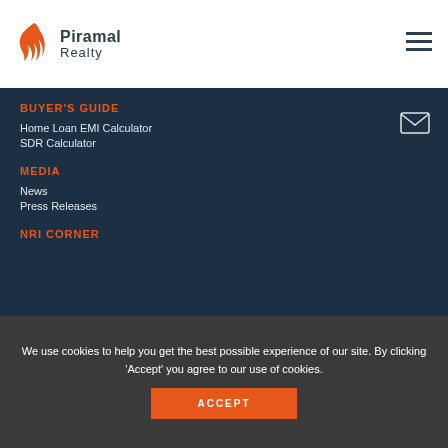[Figure (logo): Piramal Realty logo with orange flame/hand icon and dark text]
BUYER'S GUIDE
Home Loan EMI Calculator
SDR Calculator
MEDIA
News
Press Releases
NRI CORNER
We use cookies to help you get the best possible experience of our site. By clicking ‘Accept’ you agree to our use of cookies.
ACCEPT